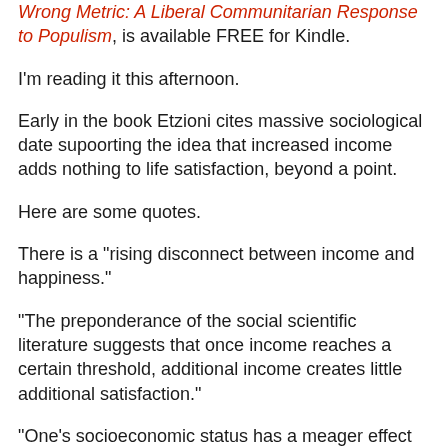Wrong Metric: A Liberal Communitarian Response to Populism, is available FREE for Kindle.
I'm reading it this afternoon.
Early in the book Etzioni cites massive sociological date supoorting the idea that increased income adds nothing to life satisfaction, beyond a point.
Here are some quotes.
There is a "rising disconnect between income and happiness."
"The preponderance of the social scientific literature suggests that once income reaches a certain threshold, additional income creates little additional satisfaction."
"One's socioeconomic status has a meager effect on